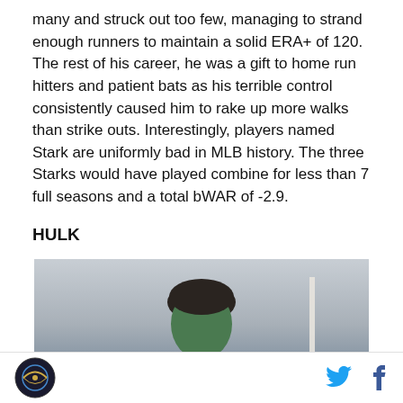many and struck out too few, managing to strand enough runners to maintain a solid ERA+ of 120. The rest of his career, he was a gift to home run hitters and patient bats as his terrible control consistently caused him to rake up more walks than strike outs. Interestingly, players named Stark are uniformly bad in MLB history. The three Starks would have played combine for less than 7 full seasons and a total bWAR of -2.9.
HULK
[Figure (photo): Partial photo of a person with dark hair against a light sky background, cropped at the bottom of the page.]
Logo icon and social media icons (Twitter and Facebook)